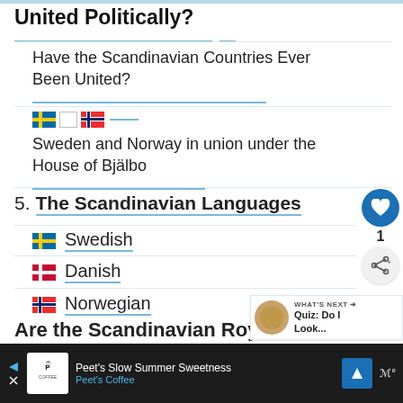United Politically?
Have the Scandinavian Countries Ever Been United?
[Figure (illustration): Swedish flag, empty square, Norwegian flag emoji icons in a row]
Sweden and Norway in union under the House of Bjälbo
5. The Scandinavian Languages
Swedish (with Swedish flag icon)
Danish (with Danish flag icon)
Norwegian (with Norwegian flag icon)
Peet's Slow Summer Sweetness Peet's Coffee [advertisement]